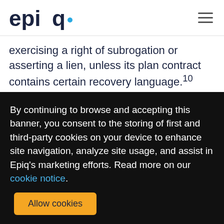epiq
exercising a right of subrogation or asserting a lien, unless its plan contract contains certain recovery language.10
Private Lien Resolution Best
By continuing to browse and accepting this banner, you consent to the storing of first and third-party cookies on your device to enhance site navigation, analyze site usage, and assist in Epiq's marketing efforts. Read more on our cookie notice.
Allow cookies